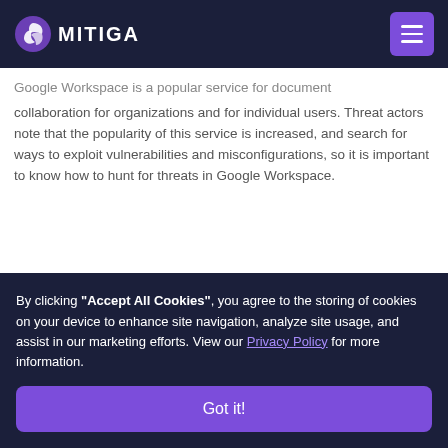Omitiga
Google Workspace - Log Insights Your Threat Hunting
Google Workspace is a popular service for document collaboration for organizations and for individual users. Threat actors note that the popularity of this service is increased, and search for ways to exploit vulnerabilities and misconfigurations, so it is important to know how to hunt for threats in Google Workspace.
By clicking “Accept All Cookies”, you agree to the storing of cookies on your device to enhance site navigation, analyze site usage, and assist in our marketing efforts. View our Privacy Policy for more information.
Got it!